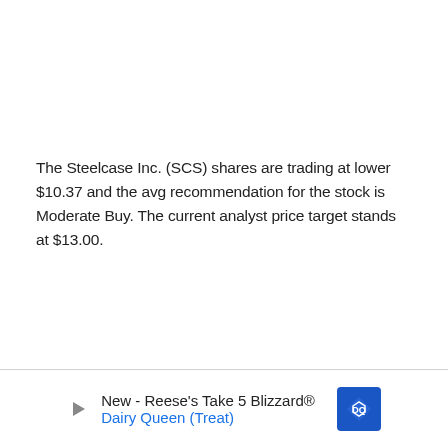The Steelcase Inc. (SCS) shares are trading at lower $10.37 and the avg recommendation for the stock is Moderate Buy. The current analyst price target stands at $13.00.
[Figure (other): Advertisement banner at the bottom of the page. Shows a play button icon on the left, text 'New - Reese's Take 5 Blizzard®' and 'Dairy Queen (Treat)' in the center, and a blue diamond-shaped Dairy Queen logo on the right.]